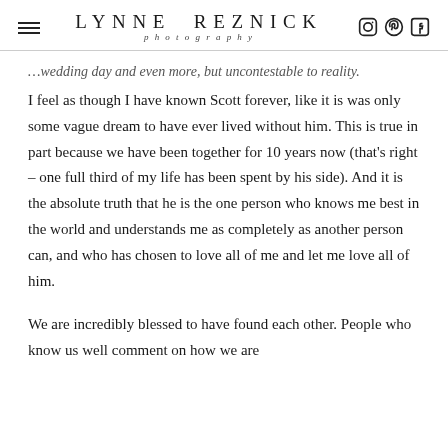LYNNE REZNICK photography
…wedding day and even more, but uncontestable to reality.
I feel as though I have known Scott forever, like it is was only some vague dream to have ever lived without him. This is true in part because we have been together for 10 years now (that's right – one full third of my life has been spent by his side). And it is the absolute truth that he is the one person who knows me best in the world and understands me as completely as another person can, and who has chosen to love all of me and let me love all of him.
We are incredibly blessed to have found each other. People who know us well comment on how we are